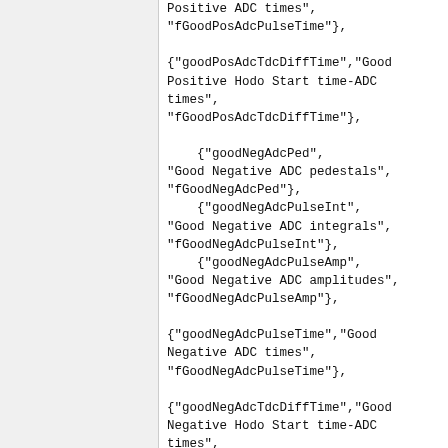Positive ADC times",
"fGoodPosAdcPulseTime"},

{"goodPosAdcTdcDiffTime","Good Positive Hodo Start time-ADC times",
"fGoodPosAdcTdcDiffTime"},

    {"goodNegAdcPed",
"Good Negative ADC pedestals",
"fGoodNegAdcPed"},
    {"goodNegAdcPulseInt",
"Good Negative ADC integrals",
"fGoodNegAdcPulseInt"},
    {"goodNegAdcPulseAmp",
"Good Negative ADC amplitudes",
"fGoodNegAdcPulseAmp"},

{"goodNegAdcPulseTime","Good Negative ADC times",
"fGoodNegAdcPulseTime"},

{"goodNegAdcTdcDiffTime","Good Negative Hodo Start time-ADC times",
"fGoodNegAdcTdcDiffTime"},
    {"goodPosAdcMult",
"Good Positive ADC Multiplicity",
"fGoodPosAdcMult"},
    {"goodNegAdcMult",
"Good Negative ADC Multiplicity",